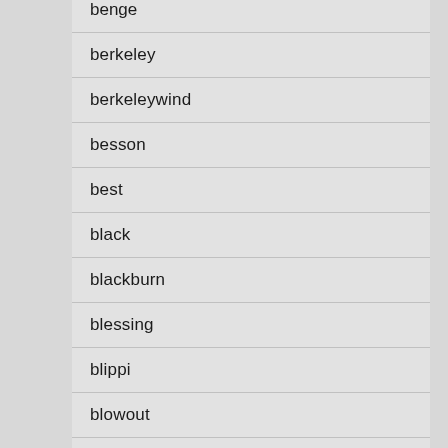benge
berkeley
berkeleywind
besson
best
black
blackburn
blessing
blippi
blowout
blue
bohemian